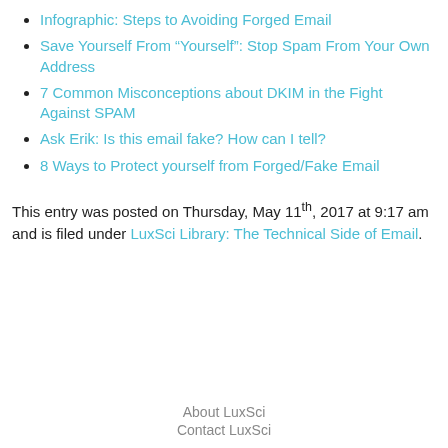Infographic: Steps to Avoiding Forged Email
Save Yourself From “Yourself”: Stop Spam From Your Own Address
7 Common Misconceptions about DKIM in the Fight Against SPAM
Ask Erik: Is this email fake? How can I tell?
8 Ways to Protect yourself from Forged/Fake Email
This entry was posted on Thursday, May 11th, 2017 at 9:17 am and is filed under LuxSci Library: The Technical Side of Email.
About LuxSci
Contact LuxSci